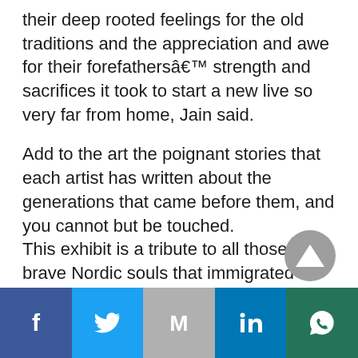their deep rooted feelings for the old traditions and the appreciation and awe for their forefathersâ€™ strength and sacrifices it took to start a new live so very far from home, Jain said.
Add to the art the poignant stories that each artist has written about the generations that came before them, and you cannot but be touched.
This exhibit is a tribute to all those brave Nordic souls that immigrated to this continent, a world away, so long ago.
[Figure (other): Social sharing bar with icons for Facebook, Twitter, Gmail/Email, LinkedIn, and WhatsApp]